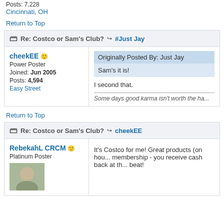Posts: 7,228
Cincinnati, OH
Return to Top
Re: Costco or Sam's Club? #Just Jay
cheekEE
Power Poster
Joined: Jun 2005
Posts: 4,594
Easy Street
Originally Posted By: Just Jay
Sam's it is!
I second that.
Some days good karma isn't worth the ha...
Return to Top
Re: Costco or Sam's Club? cheekEE
RebekahL CRCM
Platinum Poster
It's Costco for me! Great products (on hou... membership - you receive cash back at th... beat!